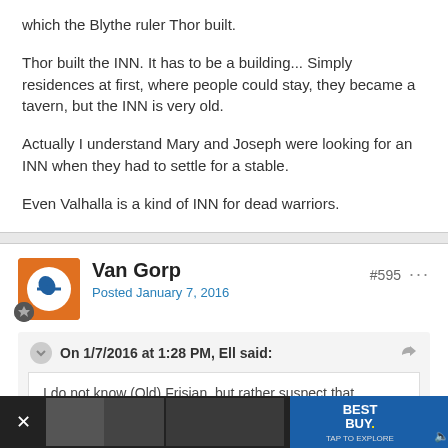which the Blythe ruler Thor built.
Thor built the INN. It has to be a building... Simply residences at first, where people could stay, they became a tavern, but the INN is very old.
Actually I understand Mary and Joseph were looking for an INN when they had to settle for a stable.
Even Valhalla is a kind of INN for dead warriors.
Van Gorp
Posted January 7, 2016
#595
On 1/7/2016 at 1:28 PM, Ell said:
I do not know (Old) Frisian, but rather suspect that Jahwelikis is somehow related to sahwersa. I would not look for it in the name
[Figure (screenshot): Best Buy advertisement banner at the bottom of the page with TAP TO EXPLORE text]